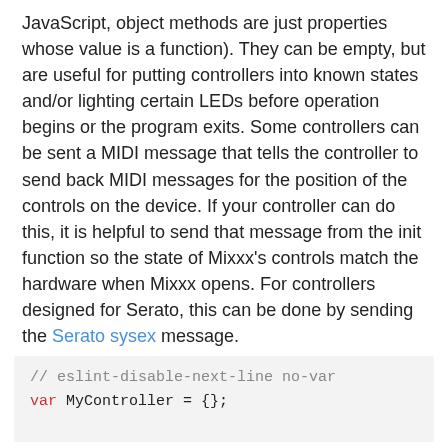JavaScript, object methods are just properties whose value is a function). They can be empty, but are useful for putting controllers into known states and/or lighting certain LEDs before operation begins or the program exits. Some controllers can be sent a MIDI message that tells the controller to send back MIDI messages for the position of the controls on the device. If your controller can do this, it is helpful to send that message from the init function so the state of Mixxx's controls match the hardware when Mixxx opens. For controllers designed for Serato, this can be done by sending the Serato sysex message.
For example, if there are 40 LEDs on your controller that respond to MIDI note numbers 1 through 40 that turn on when sent value 0x7f and turn off when sent value 0x00, your script could start with:
// eslint-disable-next-line no-var
var MyController = {};